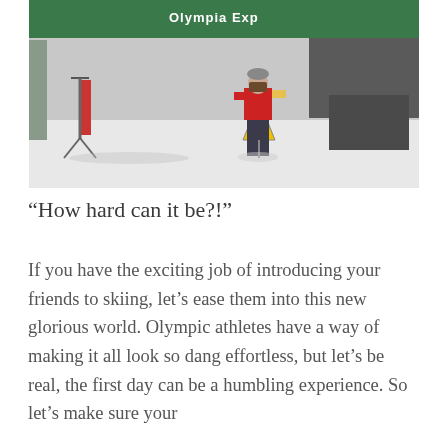[Figure (photo): A person in a red jacket and grey pants stands near a ski lift base area in snowy conditions. A yellow caution sign is visible. A green lift structure with 'Olympia Express' text is partially visible at the top. Snow-covered ground and trees in background.]
“How hard can it be?!”
If you have the exciting job of introducing your friends to skiing, let’s ease them into this new glorious world. Olympic athletes have a way of making it all look so dang effortless, but let’s be real, the first day can be a humbling experience. So let’s make sure your